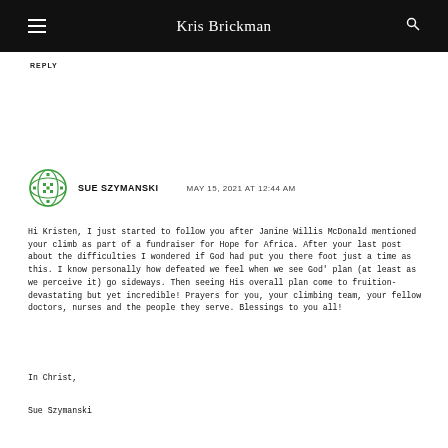Kris Brickman
REPLY
[Figure (illustration): Green globe/grid icon avatar for Sue Szymanski]
SUE SZYMANSKI    MAY 15, 2021 AT 12:44 AM
Hi Kristen, I just started to follow you after Janine Willis McDonald mentioned your climb as part of a fundraiser for Hope for Africa. After your last post about the difficulties I wondered if God had put you there foot just a time as this. I know personally how defeated we feel when we see God' plan (at least as we perceive it) go sideways. Then seeing His overall plan come to fruition- devastating but yet incredible! Prayers for you, your climbing team, your fellow doctors, nurses and the people they serve. Blessings to you all!
In Christ,
Sue Szymanski